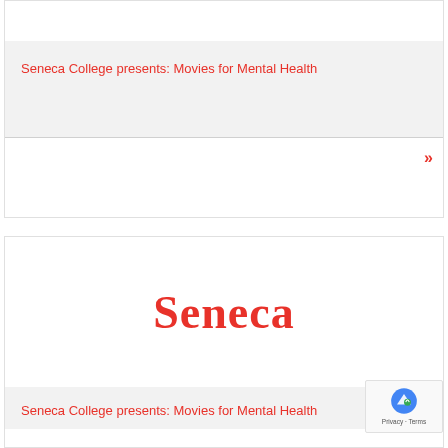Seneca College presents: Movies for Mental Health
[Figure (logo): Seneca College logo — bold red serif wordmark 'Seneca']
Seneca College presents: Movies for Mental Health